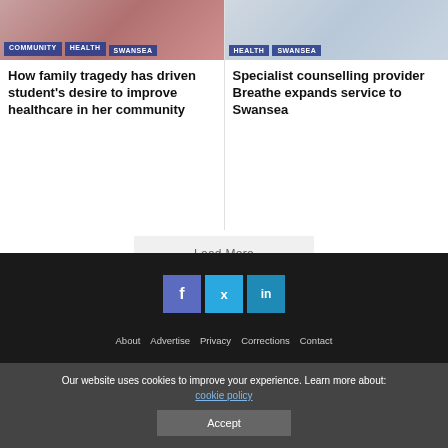[Figure (photo): Top image of article 1 with tags COMMUNITY, HEALTH, SWANSEA]
[Figure (photo): Top image of article 2 with tags HEALTH, SWANSEA]
How family tragedy has driven student's desire to improve healthcare in her community
Specialist counselling provider Breathe expands service to Swansea
Load More
[Figure (other): Social media icons: Facebook, Twitter, LinkedIn on dark background]
About   Advertise   Privacy   Corrections   Contact
Our website uses cookies to improve your experience. Learn more about: cookie policy
Accept